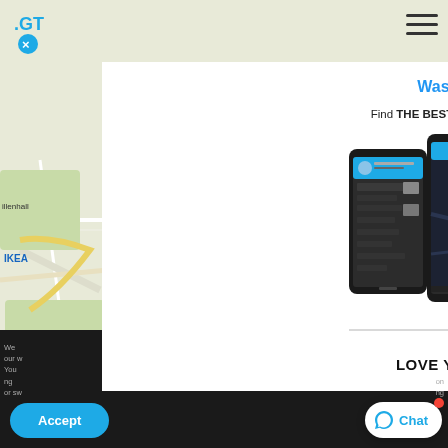[Figure (screenshot): Background map showing streets and landmarks including Aldridge, IKEA, Willenhall areas]
[Figure (logo): .GT logo with blue text and X mark below]
Wash.GT Directory
Find THE BEST deals and local professionals.
[Figure (screenshot): Three smartphone screens showing the Wash.GT app interface with map view and menu navigation]
LOVE YOUR CAR AGAIN
We on our w You ng or sw
Accept
Chat